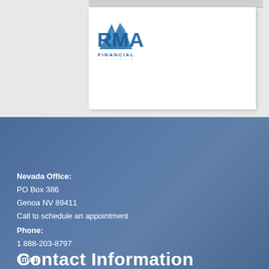[Figure (logo): RMA Financial logo with blue geometric mountain/arrow design and text 'RMA FINANCIAL - Life, Health & Wealth Management']
Get Started
Contact Information
Nevada Office:
PO Box 386
Genoa NV 89411
Call to schedule an appointment
Phone:
1 888-203-8797
Email: